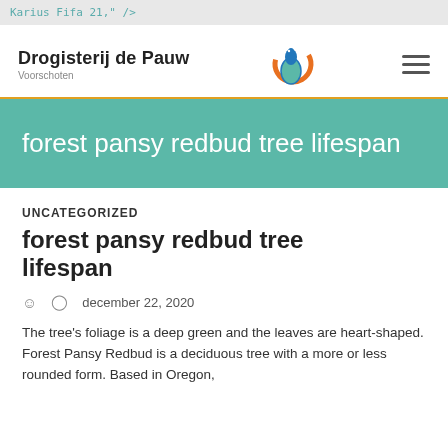Karius Fifa 21," />
[Figure (logo): Drogisterij de Pauw logo with peacock bird icon in orange, teal and blue colors, with text 'Drogisterij de Pauw' and 'Voorschoten' below. Hamburger menu icon on the right.]
forest pansy redbud tree lifespan
UNCATEGORIZED
forest pansy redbud tree lifespan
december 22, 2020
The tree's foliage is a deep green and the leaves are heart-shaped. Forest Pansy Redbud is a deciduous tree with a more or less rounded form. Based in Oregon,